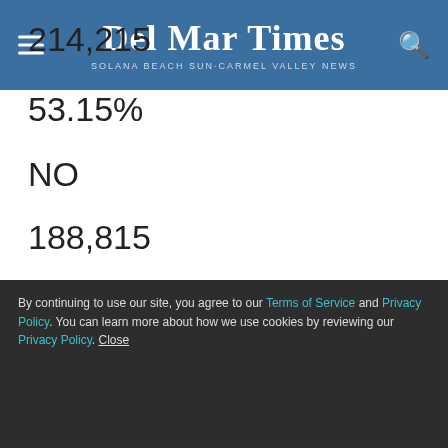Del Mar Times — Solana Beach Sun-Carmel Valley News
214,215
53.15%
NO
188,815
46.85%
PROP C — DEL MAR GARDEN DEL MAR PLAN
By continuing to use our site, you agree to our Terms of Service and Privacy Policy. You can learn more about how we use cookies by reviewing our Privacy Policy. Close